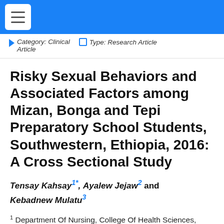Category: Clinical Article   Type: Research Article
Risky Sexual Behaviors and Associated Factors among Mizan, Bonga and Tepi Preparatory School Students, Southwestern, Ethiopia, 2016: A Cross Sectional Study
Tensay Kahsay1*, Ayalew Jejaw2 and Kebadnew Mulatu3
1 Department Of Nursing, College Of Health Sciences, Mekelle University, Mekelle, Ethiopia
2 Department Of Parasitology, School Of Biomedical And Laboratory Sciences, College Of